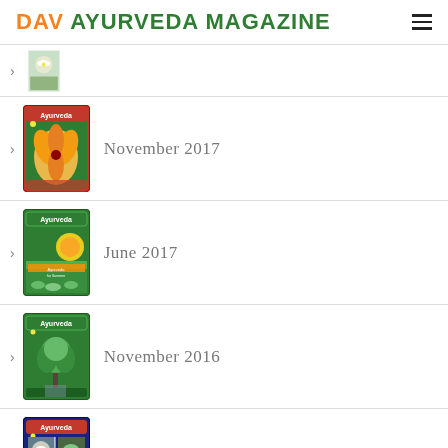DAV AYURVEDA MAGAZINE
(magazine cover thumbnail — top partial)
November 2017
June 2017
November 2016
September 2015